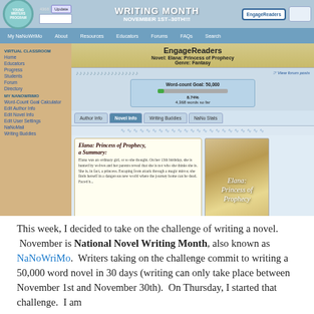[Figure (screenshot): Screenshot of the NaNoWriMo Young Writers Program website showing the EngageReaders section with novel 'Elana: Princess of Prophecy', genre Fantasy, word-count goal 50,000, 8.74% complete, 4,368 words so far. Includes navigation tabs: Author Info, Novel Info, Writing Buddies, NaNo Stats. Summary text and book cover image visible.]
This week, I decided to take on the challenge of writing a novel.  November is National Novel Writing Month, also known as NaNoWriMo.  Writers taking on the challenge commit to writing a 50,000 word novel in 30 days (writing can only take place between November 1st and November 30th).  On Thursday, I started that challenge.  I am